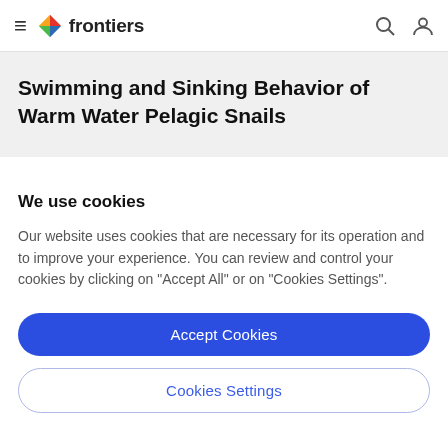frontiers
Swimming and Sinking Behavior of Warm Water Pelagic Snails
We use cookies
Our website uses cookies that are necessary for its operation and to improve your experience. You can review and control your cookies by clicking on "Accept All" or on "Cookies Settings".
Accept Cookies
Cookies Settings